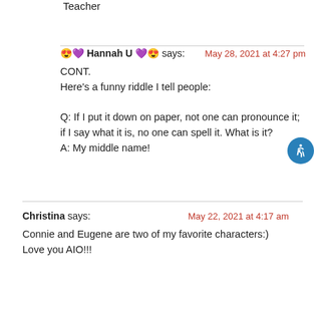Teacher
😍💜 Hannah U 💜😍 says:   May 28, 2021 at 4:27 pm

CONT.
Here's a funny riddle I tell people:

Q: If I put it down on paper, not one can pronounce it; if I say what it is, no one can spell it. What is it?
A: My middle name!
Christina says:   May 22, 2021 at 4:17 am

Connie and Eugene are two of my favorite characters:) Love you AIO!!!